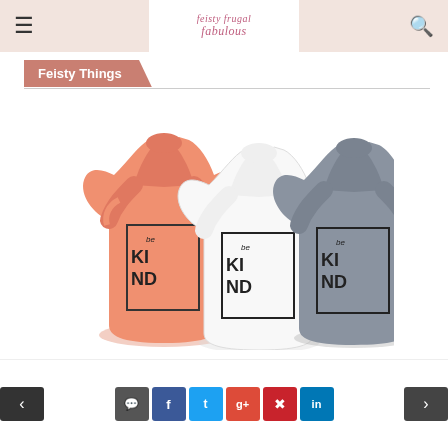feisty frugal fabulous — header with hamburger menu and search icon
Feisty Things
[Figure (photo): Three racerback tank tops in coral/orange, white, and gray, each printed with 'be KIND' in a bold square graphic design]
Navigation: previous arrow, comment, Facebook, Twitter, Google+, Pinterest, LinkedIn, next arrow